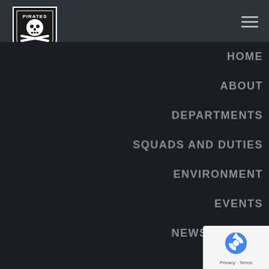[Figure (logo): Pirates Lifesaving Club shield logo with skull and crossbones]
HOME
ABOUT
DEPARTMENTS
SQUADS AND DUTIES
ENVIRONMENT
EVENTS
NEWSLETTERS
GA...